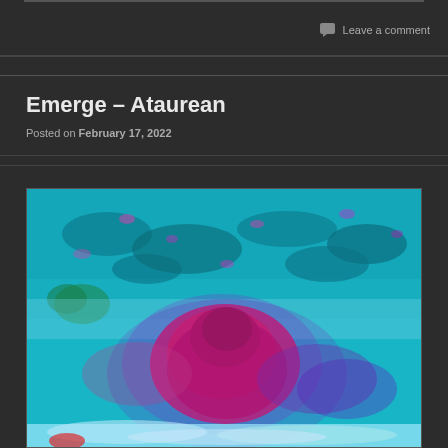Leave a comment
Emerge – Ataurean
Posted on February 17, 2022
[Figure (photo): Abstract psychedelic/infrared-style photograph showing a coastal or beach scene from aerial perspective. Colors are heavily processed with cyan/teal tones dominating the upper portion showing rocky or urban terrain, and a large magenta/red/purple form emerging from the center-bottom area, with lighter cyan foam-like textures at the bottom edge.]